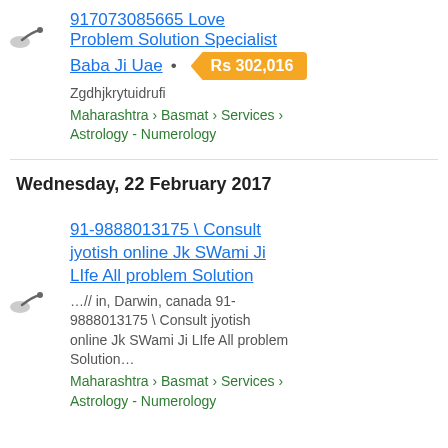[Figure (other): Small cursor/pointer icon thumbnail]
917073085665 Love Problem Solution Specialist Baba Ji Uae
Rs 302,016
Zgdhjkrytuidrufi
Maharashtra › Basmat › Services › Astrology - Numerology
Wednesday, 22 February 2017
[Figure (other): Small cursor/pointer icon thumbnail]
91-9888013175 \ Consult jyotish online Jk SWami Ji LIfe All problem Solution
…// in, Darwin, canada 91-9888013175 \ Consult jyotish online Jk SWami Ji LIfe All problem Solution…
Maharashtra › Basmat › Services › Astrology - Numerology